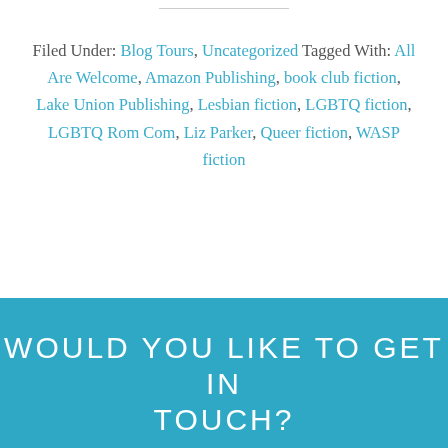Filed Under: Blog Tours, Uncategorized Tagged With: All Are Welcome, Amazon Publishing, book club fiction, Lake Union Publishing, Lesbian fiction, LGBTQ fiction, LGBTQ Rom Com, Liz Parker, Queer fiction, WASP fiction
WOULD YOU LIKE TO GET IN TOUCH?